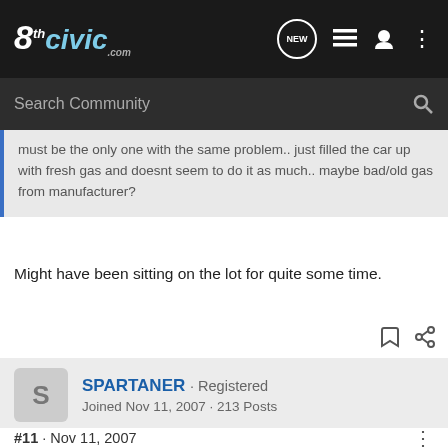8thCivic.com
must be the only one with the same problem.. just filled the car up with fresh gas and doesnt seem to do it as much.. maybe bad/old gas from manufacturer?
Might have been sitting on the lot for quite some time.
SPARTANER · Registered
Joined Nov 11, 2007 · 213 Posts
#11 · Nov 11, 2007
my si does this when its cold, but stops when it warms up